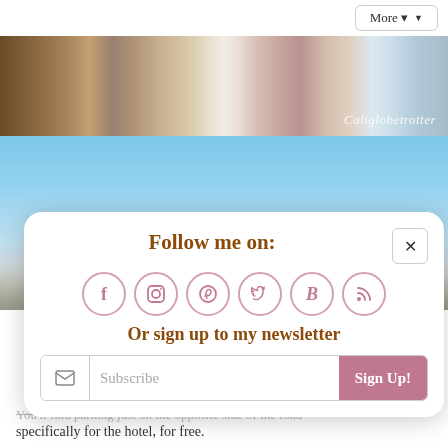[Figure (screenshot): Top navigation bar with More button and dropdown arrow]
[Figure (photo): Horizontal photo strip showing outdoor hotel/resort area with watermark 'Caliglobetrotter' in bottom right]
[Figure (photo): Blue sky and beach/resort scenery photo]
Follow me on:
[Figure (infographic): Social media icons in circles: Facebook (f), Instagram, Pinterest, Twitter, Bloglovin (B), RSS feed]
Or sign up to my newsletter
Subscribe | Sign Up!
You'll find parking just on the opposite side of the road specifically for the hotel, for free.